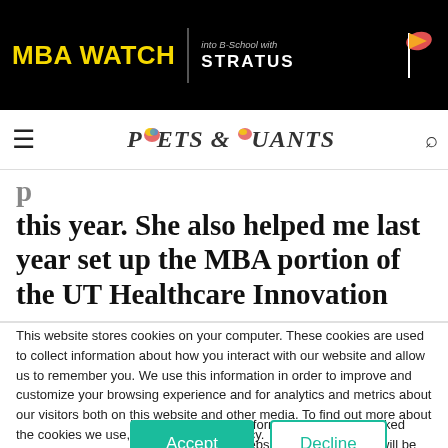MBA WATCH | into B-School with STRATUS
[Figure (logo): Poets & Quants navigation logo with hamburger menu and search icon]
this year. She also helped me last year set up the MBA portion of the UT Healthcare Innovation
This website stores cookies on your computer. These cookies are used to collect information about how you interact with our website and allow us to remember you. We use this information in order to improve and customize your browsing experience and for analytics and metrics about our visitors both on this website and other media. To find out more about the cookies we use, see our Privacy Policy.
If you decline, your information won't be tracked when you visit this website. A single cookie will be used in your browser to remember your preference not to be tracked.